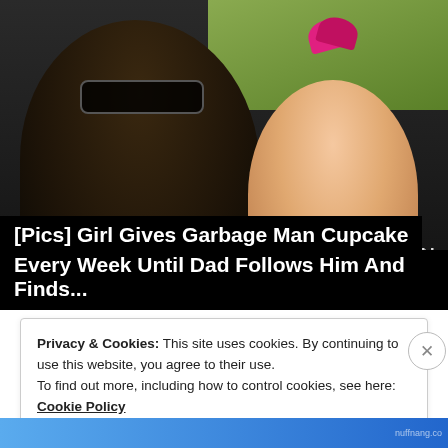[Figure (photo): Photo of a smiling man wearing sunglasses and a dark jacket with a young girl with a pink bow in her hair, outdoors with green grass in background. Media player controls (skip, pause, skip) and a progress bar are overlaid at the bottom of the image.]
[Pics] Girl Gives Garbage Man Cupcake Every Week Until Dad Follows Him And Finds...
Privacy & Cookies: This site uses cookies. By continuing to use this website, you agree to their use.
To find out more, including how to control cookies, see here: Cookie Policy
Close and accept